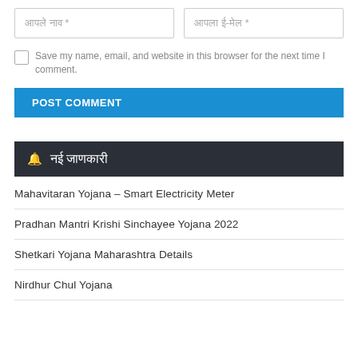आपले नाव *
आपला ई-मेल *
Save my name, email, and website in this browser for the next time I comment.
POST COMMENT
🔔 नई जाणकारी
Mahavitaran Yojana – Smart Electricity Meter
Pradhan Mantri Krishi Sinchayee Yojana 2022
Shetkari Yojana Maharashtra Details
Nirdhur Chul Yojana